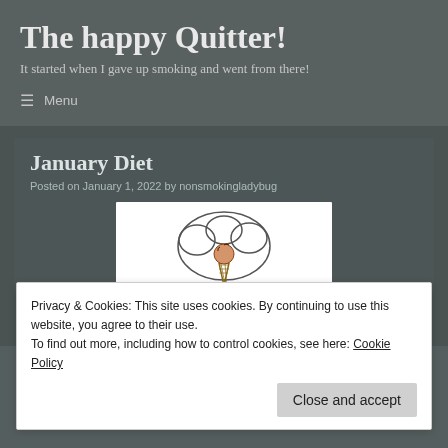The happy Quitter!
It started when I gave up smoking and went from there!
≡  Menu
January Diet
Posted on January 1, 2022 by nonsmokingladybug
[Figure (illustration): An illustration of an ice cream cone with a cloud or swirl shape behind it, drawn in simple outline style.]
Privacy & Cookies: This site uses cookies. By continuing to use this website, you agree to their use.
To find out more, including how to control cookies, see here: Cookie Policy
Close and accept